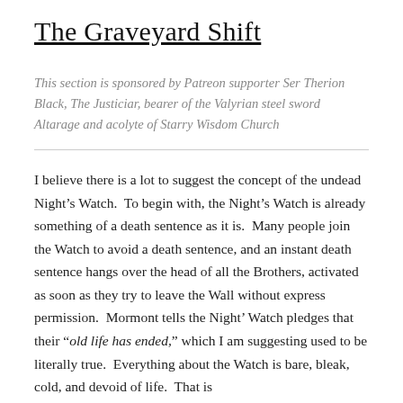The Graveyard Shift
This section is sponsored by Patreon supporter Ser Therion Black, The Justiciar, bearer of the Valyrian steel sword Altarage and acolyte of Starry Wisdom Church
I believe there is a lot to suggest the concept of the undead Night’s Watch.  To begin with, the Night’s Watch is already something of a death sentence as it is.  Many people join the Watch to avoid a death sentence, and an instant death sentence hangs over the head of all the Brothers, activated as soon as they try to leave the Wall without express permission.  Mormont tells the Night’ Watch pledges that their “old life has ended,” which I am suggesting used to be literally true.  Everything about the Watch is bare, bleak, cold, and devoid of life.  That is